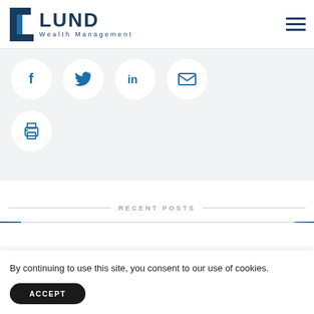[Figure (logo): Lund Wealth Management logo with stylized L icon and company name]
[Figure (infographic): Social sharing icons row: Facebook, Twitter, LinkedIn, Email, and Print buttons in circular white buttons on light gray background]
RECENT POSTS
[Figure (photo): Bottom strip showing partial blue card images on left and right edges]
By continuing to use this site, you consent to our use of cookies.
ACCEPT